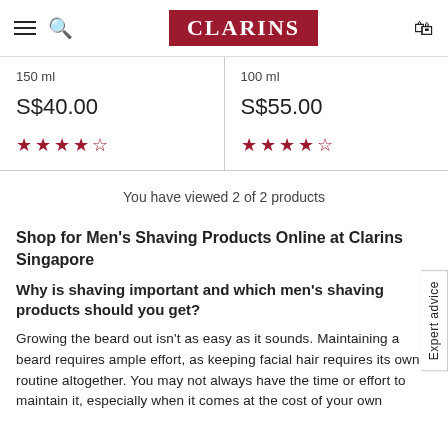[Figure (logo): Clarins logo in red rectangle with white text, hamburger menu and search icon on left, cart icon on right]
| Product 1 | Product 2 |
| --- | --- |
| 150 ml | 100 ml |
| S$40.00 | S$55.00 |
| ★★★★½ | ★★★★½ |
You have viewed 2 of 2 products
Shop for Men's Shaving Products Online at Clarins Singapore
Why is shaving important and which men's shaving products should you get?
Growing the beard out isn't as easy as it sounds. Maintaining a beard requires ample effort, as keeping facial hair requires its own routine altogether. You may not always have the time or effort to maintain it, especially when it comes at the cost of your own